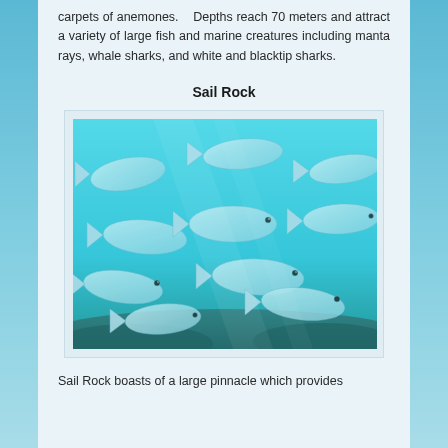carpets of anemones. Depths reach 70 meters and attract a variety of large fish and marine creatures including manta rays, whale sharks, and white and blacktip sharks.
Sail Rock
[Figure (photo): Underwater photograph of a large school of silver fish swimming in blue-green water above rocky seafloor]
Sail Rock boasts of a large pinnacle which provides